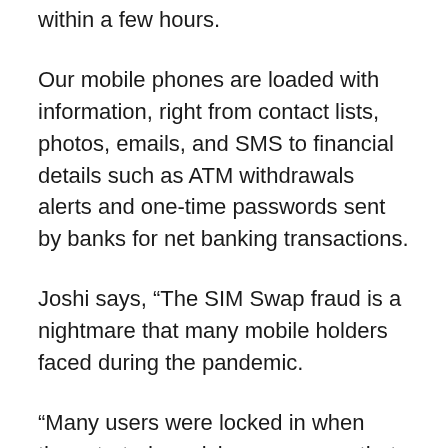within a few hours.
Our mobile phones are loaded with information, right from contact lists, photos, emails, and SMS to financial details such as ATM withdrawals alerts and one-time passwords sent by banks for net banking transactions.
Joshi says, “The SIM Swap fraud is a nightmare that many mobile holders faced during the pandemic.
“Many users were locked in when they started receiving messages that their SIM card has been blocked or the request for changing the SIM had been received.”